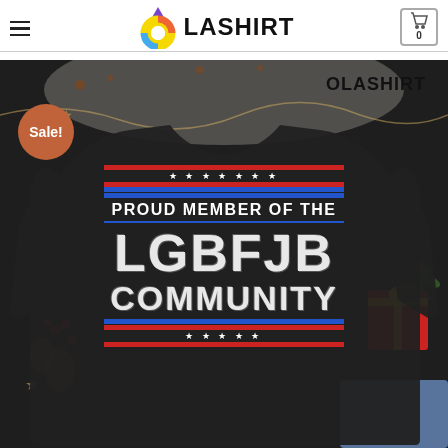OLASHIRT
[Figure (photo): Product photo of a black sweatshirt with text 'PROUD MEMBER OF THE LGBFJB COMMUNITY' printed on it, surrounded by Christmas decorations. A 'Sale!' badge is shown in the upper left of the image. 'OLASHIRT' watermark in upper right.]